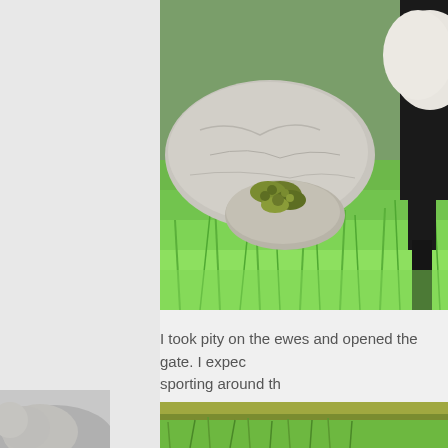[Figure (photo): Close-up photograph of a large pale grey rock with green moss patches, surrounded by bright green grass. A black animal leg (sheep or lamb) is visible on the right edge.]
I took pity on the ewes and opened the gate. I expec sporting around th
[Figure (photo): Partial view of another outdoor scene with green and olive tones, bottom of page.]